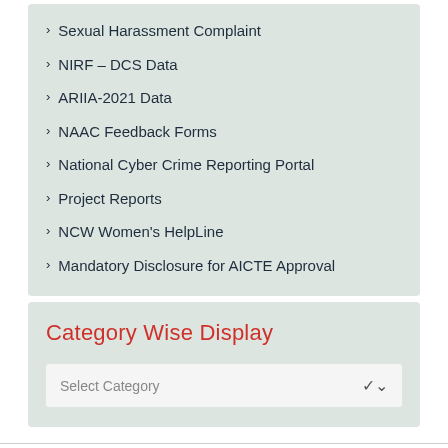Sexual Harassment Complaint
NIRF – DCS Data
ARIIA-2021 Data
NAAC Feedback Forms
National Cyber Crime Reporting Portal
Project Reports
NCW Women's HelpLine
Mandatory Disclosure for AICTE Approval
Category Wise Display
Select Category